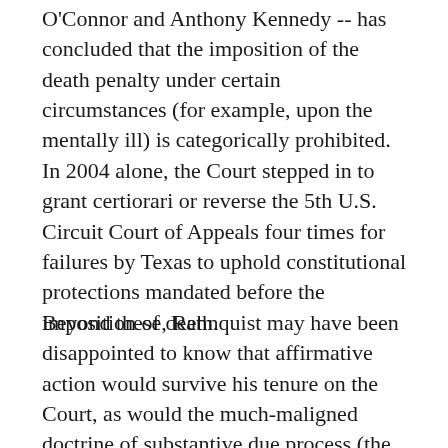O'Connor and Anthony Kennedy -- has concluded that the imposition of the death penalty under certain circumstances (for example, upon the mentally ill) is categorically prohibited. In 2004 alone, the Court stepped in to grant certiorari or reverse the 5th U.S. Circuit Court of Appeals four times for failures by Texas to uphold constitutional protections mandated before the imposition of death.
Beyond these, Rehnquist may have been disappointed to know that affirmative action would survive his tenure on the Court, as would the much-maligned doctrine of substantive due process (the quasi-textual hook for much of the Court's recognition of protected liberties under the Constitution) and the right to be read Miranda warnings when arrested. Indeed, when it came